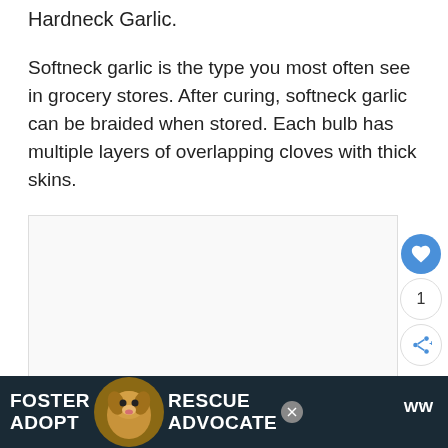Hardneck Garlic.
Softneck garlic is the type you most often see in grocery stores. After curing, softneck garlic can be braided when stored. Each bulb has multiple layers of overlapping cloves with thick skins.
[Figure (photo): Empty image placeholder area for garlic photo with social interaction buttons (heart/like button showing blue circle with heart icon, count badge showing '1', and share button)]
[Figure (infographic): Advertisement banner at bottom: dark navy background with 'FOSTER ADOPT' text on left, beagle dog photo in center, 'RESCUE ADVOCATE' text, close button, and WW/Weightwatchers logo on right]